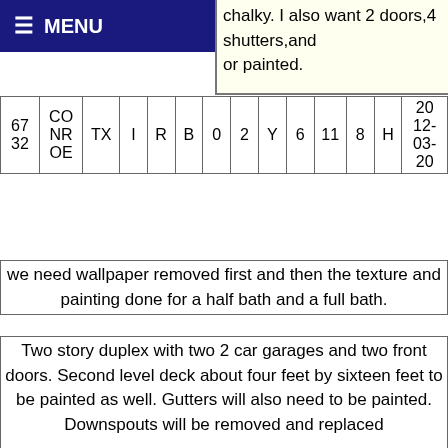chalky. I also want 2 doors,4 shutters,and or painted.
≡ MENU
| 67
32 | CO
NR
OE | TX | I | R | B | 0 | 2 | Y | 6 | 11 | 8 | H | 20
12-
03-
20 |
we need wallpaper removed first and then the texture and painting done for a half bath and a full bath.
| 67
31 | HALF
MOON
BAY | CA | E | R | B | 2 | 11 | Y | 30 | 63 | 20 | H | 20
12-
03-
18 |
Two story duplex with two 2 car garages and two front doors. Second level deck about four feet by sixteen feet to be painted as well. Gutters will also need to be painted. Downspouts will be removed and replaced